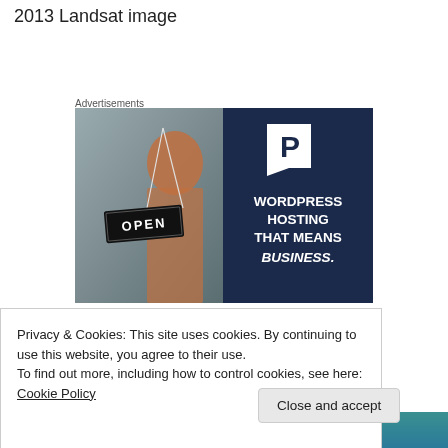2013 Landsat image
Advertisements
[Figure (photo): WordPress hosting advertisement banner. Left half shows a photo of a smiling woman holding an OPEN sign. Right half is dark navy blue with a white P logo and text: WORDPRESS HOSTING THAT MEANS BUSINESS.]
Privacy & Cookies: This site uses cookies. By continuing to use this website, you agree to their use.
To find out more, including how to control cookies, see here: Cookie Policy
Close and accept